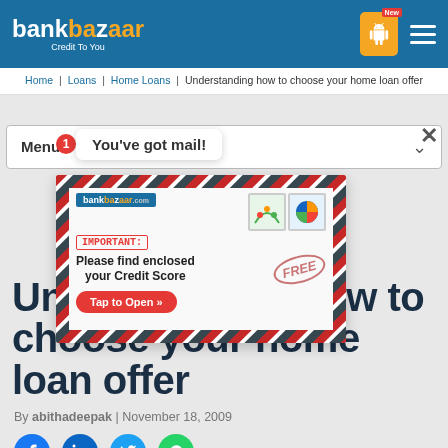bankbazaar Credit To You
Home | Loans | Home Loans | Understanding how to choose your home loan offer
Menu
[Figure (screenshot): Email popup notification showing 'You've got mail!' with a bankbazaar envelope image containing 'IMPORTANT: Please find enclosed your Credit Score' and 'Tap to Open' button]
Understanding how to choose your home loan offer
By abithadeepak | November 18, 2009
[Figure (infographic): Social sharing icons: Facebook, LinkedIn, Twitter, WhatsApp]